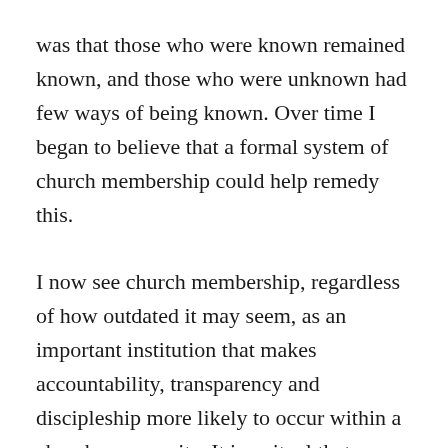was that those who were known remained known, and those who were unknown had few ways of being known. Over time I began to believe that a formal system of church membership could help remedy this.
I now see church membership, regardless of how outdated it may seem, as an important institution that makes accountability, transparency and discipleship more likely to occur within a church community. It is a ritual that makes individual followers of Jesus accountable to a local body of believers, and a local body of believers accountable to the